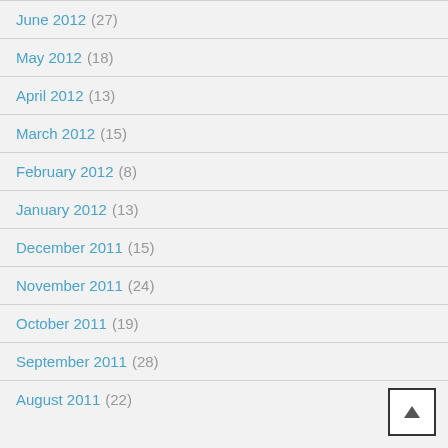June 2012 (27)
May 2012 (18)
April 2012 (13)
March 2012 (15)
February 2012 (8)
January 2012 (13)
December 2011 (15)
November 2011 (24)
October 2011 (19)
September 2011 (28)
August 2011 (22)